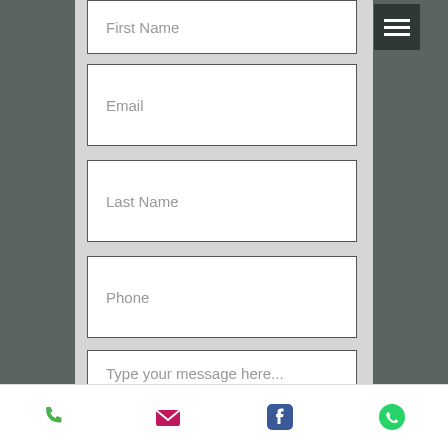[Figure (screenshot): Mobile app contact form screenshot showing form fields: First Name, Email, Last Name, Phone, and a message textarea with placeholder 'Type your message here...', a hamburger menu button, a partially visible green submit button, and a bottom navigation bar with phone, email, Facebook, and WhatsApp icons.]